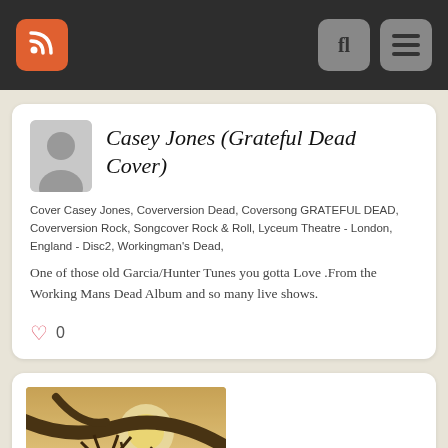Navigation bar with RSS icon and menu buttons
Casey Jones (Grateful Dead Cover)
Cover Casey Jones, Coverversion Dead, Coversong GRATEFUL DEAD, Coverversion Rock, Songcover Rock & Roll, Lyceum Theatre - London, England - Disc2, Workingman's Dead,
One of those old Garcia/Hunter Tunes you gotta Love .From the Working Mans Dead Album and so many live shows.
[Figure (illustration): Sepia-toned photo showing tree branches silhouetted against a bright sky with palm trees in the background]